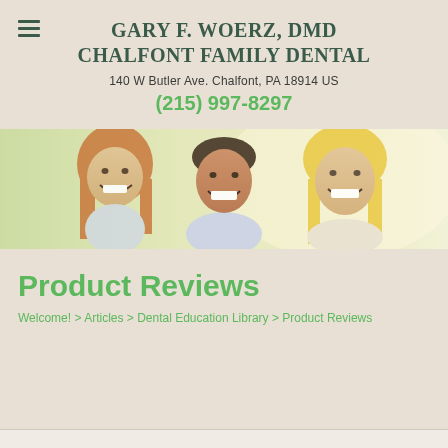GARY F. WOERZ, DMD
CHALFONT FAMILY DENTAL
140 W Butler Ave. Chalfont, PA 18914 US
(215) 997-8297
[Figure (photo): A smiling family — a young girl, a man, and a woman — photographed outdoors in bright light with a light greenish-yellow background, all smiling and happy.]
Product Reviews
Welcome! > Articles > Dental Education Library > Product Reviews